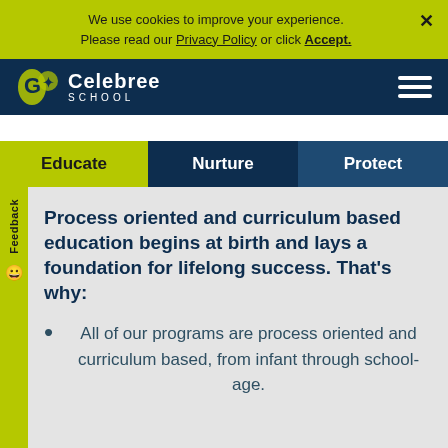We use cookies to improve your experience. Please read our Privacy Policy or click Accept.
[Figure (logo): Celebree School logo — stylized leaf/G icon with Celebree School text in white on dark navy background]
Educate
Nurture
Protect
Feedback
Process oriented and curriculum based education begins at birth and lays a foundation for lifelong success. That's why:
All of our programs are process oriented and curriculum based, from infant through school-age.